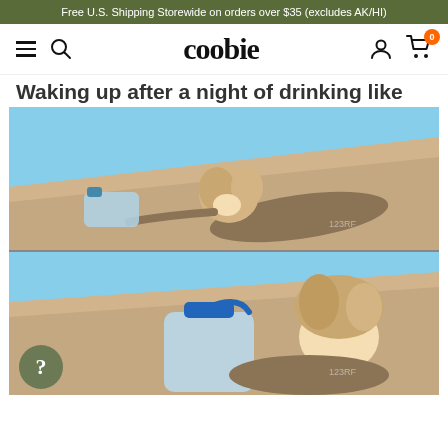Free U.S. Shipping Storewide on orders over $35 (excludes AK/HI)
coobie — navigation bar with hamburger, search, user, and cart icons
Waking up after a night of drinking like
[Figure (photo): Two stacked photos from 123RF stock: top photo shows a blonde curly-haired woman in a khaki shirt dragging herself across a sandy desert dune reaching for a small water bottle; bottom photo shows the same woman lying on the sand hugging a large gallon water jug with disheveled hair.]